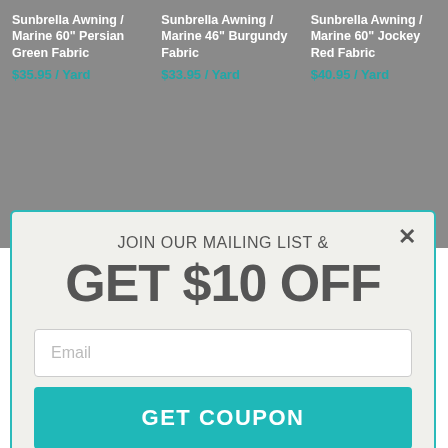Sunbrella Awning / Marine 60" Persian Green Fabric
$35.95 / Yard
Sunbrella Awning / Marine 46" Burgundy Fabric
$33.95 / Yard
Sunbrella Awning / Marine 60" Jockey Red Fabric
$40.95 / Yard
JOIN OUR MAILING LIST &
GET $10 OFF
Email
GET COUPON
Coupon valid on orders $75+